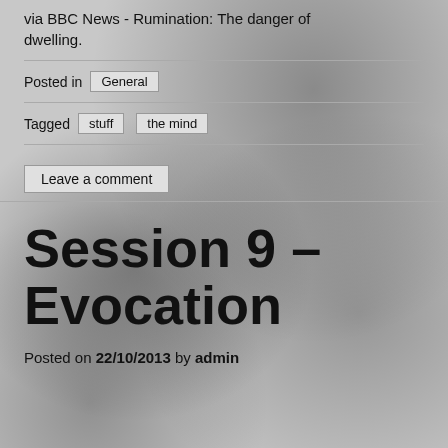via BBC News - Rumination: The danger of dwelling.
Posted in General
Tagged stuff the mind
Leave a comment
Session 9 – Evocation
Posted on 22/10/2013 by admin